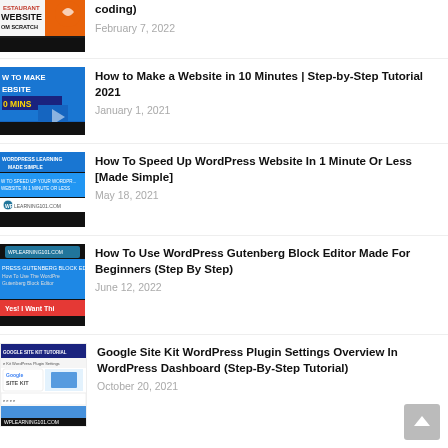How to Build a Restaurant Website From Scratch (No Coding) — February 7, 2022
How to Make a Website in 10 Minutes | Step-by-Step Tutorial 2021 — January 1, 2021
How To Speed Up WordPress Website In 1 Minute Or Less [Made Simple] — May 18, 2021
How To Use WordPress Gutenberg Block Editor Made For Beginners (Step By Step) — June 12, 2022
Google Site Kit WordPress Plugin Settings Overview In WordPress Dashboard (Step-By-Step Tutorial) — October 20, 2021